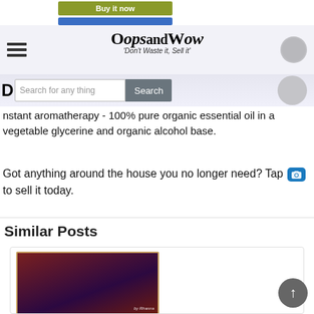[Figure (screenshot): Buy it now button (olive green) and blue bar below it]
OopsandWow - 'Don't Waste it, Sell it'
[Figure (screenshot): Search bar with text 'Search for any thing' and Search button, plus user profile icon circle]
nstant aromatherapy - 100% pure organic essential oil in a vegetable glycerine and organic alcohol base.
Got anything around the house you no longer need? Tap [camera icon] to sell it today.
Similar Posts
[Figure (photo): Album art or product image showing a woman with red hair against purple/dark background, partial text visible]